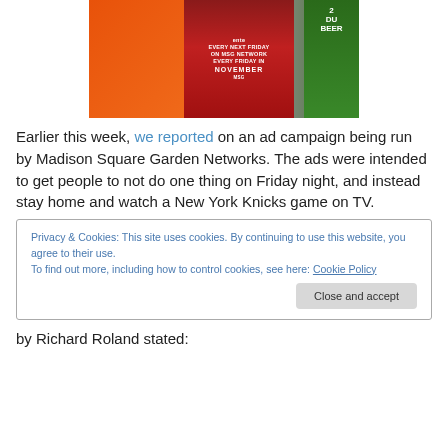[Figure (photo): Photo showing an orange plastic crate on the left, a red poster/advertisement for MSG Network in the center with text 'EVERY NEXT FRIDAY ON MSG NETWORK EVERY FRIDAY IN NOVEMBER', and a green panel on the right with partial text.]
Earlier this week, we reported on an ad campaign being run by Madison Square Garden Networks. The ads were intended to get people to not do one thing on Friday night, and instead stay home and watch a New York Knicks game on TV.
Privacy & Cookies: This site uses cookies. By continuing to use this website, you agree to their use.
To find out more, including how to control cookies, see here: Cookie Policy
Close and accept
by Richard Roland stated: